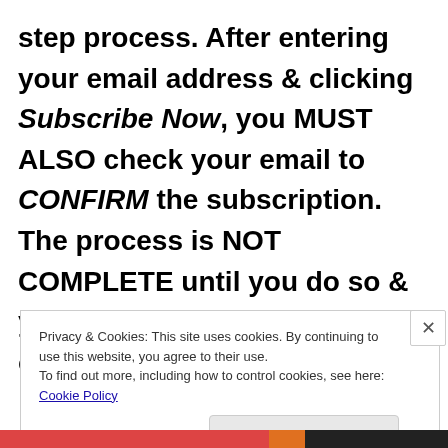step process. After entering your email address & clicking Subscribe Now, you MUST ALSO check your email to CONFIRM the subscription. The process is NOT COMPLETE until you do so & your name will NOT make it onto the list of
Privacy & Cookies: This site uses cookies. By continuing to use this website, you agree to their use.
To find out more, including how to control cookies, see here: Cookie Policy
Close and accept